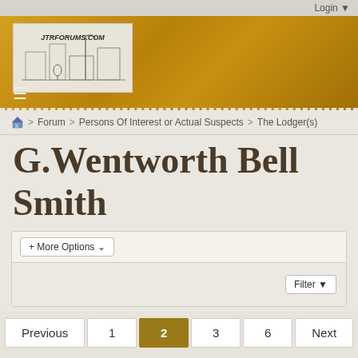Login ▼
[Figure (logo): JTRForums.com website logo banner with sketch-style illustration]
≡
🏠 > Forum > Persons Of Interest or Actual Suspects > The Lodger(s)
G.Wentworth Bell Smith
+ More Options ▾
Filter ▼
Previous  1  2  3  6  Next